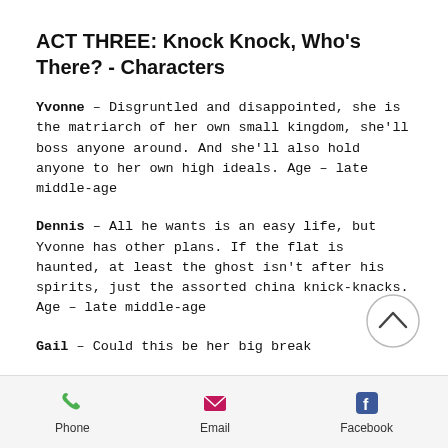ACT THREE: Knock Knock, Who's There? - Characters
Yvonne – Disgruntled and disappointed, she is the matriarch of her own small kingdom, she'll boss anyone around. And she'll also hold anyone to her own high ideals. Age – late middle-age
Dennis – All he wants is an easy life, but Yvonne has other plans. If the flat is haunted, at least the ghost isn't after his spirits, just the assorted china knick-knacks. Age – late middle-age
Gail – Could this be her big break
Phone   Email   Facebook